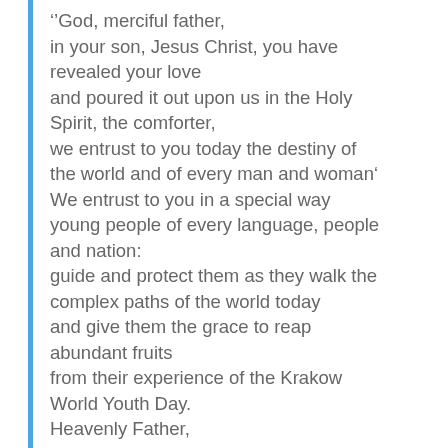‘’“God, merciful father, in your son, Jesus Christ, you have revealed your love and poured it out upon us in the Holy Spirit, the comforter, we entrust to you today the destiny of the world and of every man and woman‘ We entrust to you in a special way young people of every language, people and nation: guide and protect them as they walk the complex paths of the world today and give them the grace to reap abundant fruits from their experience of the Krakow World Youth Day. Heavenly Father, grant that we may bear witness to your mercy.